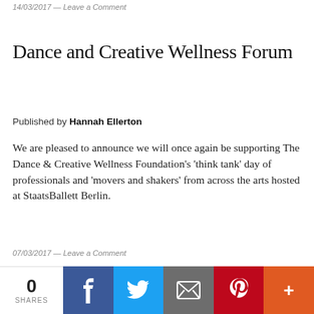14/03/2017 — Leave a Comment
Dance and Creative Wellness Forum
Published by Hannah Ellerton
We are pleased to announce we will once again be supporting The Dance & Creative Wellness Foundation's 'think tank' day of professionals and 'movers and shakers' from across the arts hosted at StaatsBallett Berlin.
07/03/2017 — Leave a Comment
0 SHARES
[Figure (other): Social share bar with Facebook, Twitter, Email, Pinterest, and More buttons]